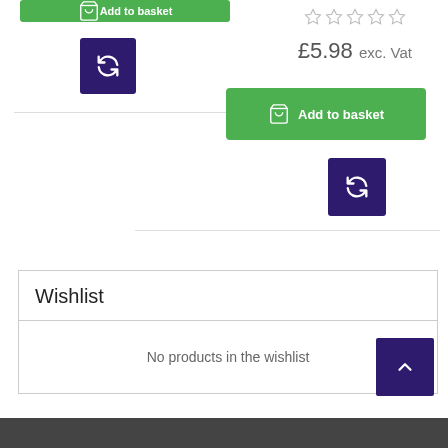[Figure (screenshot): Partially visible green 'Add to basket' button in left column]
[Figure (screenshot): Dark purple refresh/compare button in left column]
[Figure (screenshot): Star rating (empty stars) in right column]
£5.98 exc. Vat
[Figure (screenshot): Green 'Add to basket' button in right column]
[Figure (screenshot): Dark purple refresh/compare button in right column]
Wishlist
No products in the wishlist
[Figure (screenshot): Dark purple back-to-top arrow button]